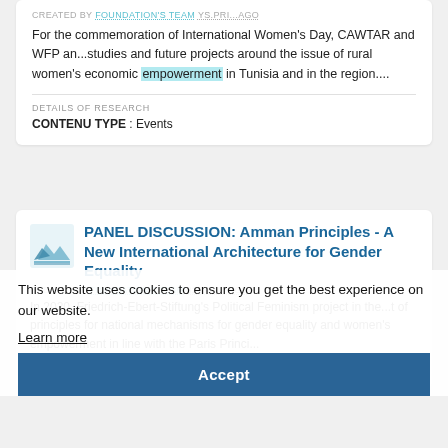CREATED BY FOUNDATION'S TEAM ys.pri...ago
For the commemoration of International Women's Day, CAWTAR and WFP an...studies and future projects around the issue of rural women's economic empowerment in Tunisia and in the region....
DETAILS OF RESEARCH
CONTENU TYPE : Events
PANEL DISCUSSION: Amman Principles - A New International Architecture for Gender Equality
CREATED BY FOUNDATION'S TEAM 325.dni...ago
In 2020, Friedrich-Ebert-Stiftung's Political Feminism project in the...t of principles for national mechanisms for gender equality and women's empowerment in line with the Paris Princi...
DETAILS OF RESEARCH
This website uses cookies to ensure you get the best experience on our website.
Learn more
Accept